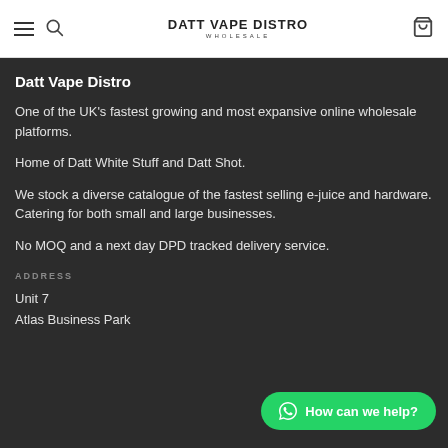Datt Vape Distro Wholesale — navigation header with menu, search, logo, and bag icons
Datt Vape Distro
One of the UK's fastest growing and most expansive online wholesale platforms.
Home of Datt White Stuff and Datt Shot.
We stock a diverse catalogue of the fastest selling e-juice and hardware. Catering for both small and large businesses.
No MOQ and a next day DPD tracked delivery service.
ADDRESS
Unit 7
Atlas Business Park